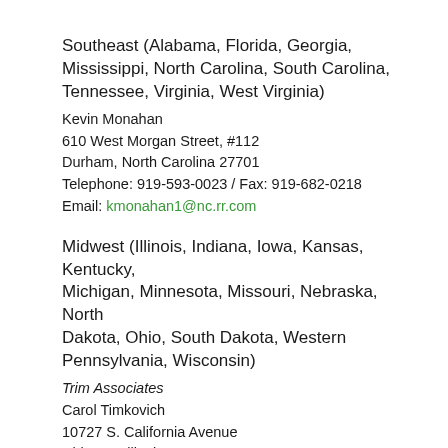Southeast (Alabama, Florida, Georgia, Mississippi, North Carolina, South Carolina, Tennessee, Virginia, West Virginia)
Kevin Monahan
610 West Morgan Street, #112
Durham, North Carolina 27701
Telephone: 919-593-0023 / Fax: 919-682-0218
Email: kmonahan1@nc.rr.com
Midwest (Illinois, Indiana, Iowa, Kansas, Kentucky, Michigan, Minnesota, Missouri, Nebraska, North Dakota, Ohio, South Dakota, Western Pennsylvania, Wisconsin)
Trim Associates
Carol Timkovich
10727 S. California Avenue
Chicago, Illinois 60655
Telephone: 773-239-4295 / Fax: 888-334-6986
Email: ctimkovich@msn.com